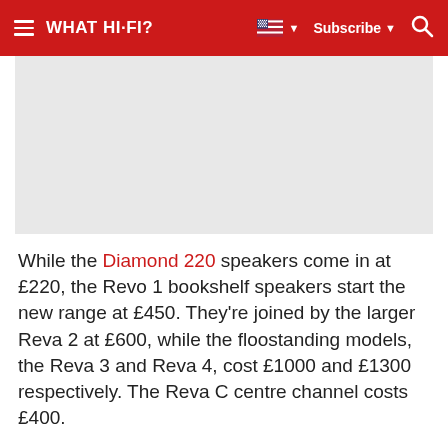WHAT HI-FI? | Subscribe | Search
[Figure (photo): Gray placeholder image area for a speaker product photo]
While the Diamond 220 speakers come in at £220, the Revo 1 bookshelf speakers start the new range at £450. They're joined by the larger Reva 2 at £600, while the floostanding models, the Reva 3 and Reva 4, cost £1000 and £1300 respectively. The Reva C centre channel costs £400.
So what's new? A fair bit, it seems. The cabinet construction, the drivers, the port design and the